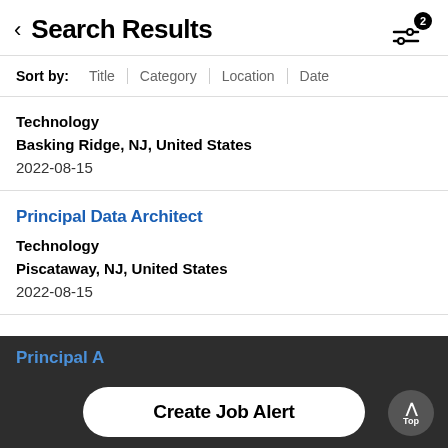Search Results
Sort by: Title | Category | Location | Date
Technology
Basking Ridge, NJ, United States
2022-08-15
Principal Data Architect
Technology
Piscataway, NJ, United States
2022-08-15
Principal A...
Create Job Alert